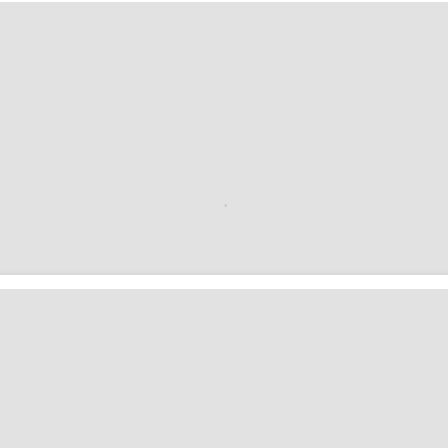[Figure (screenshot): Product listing card showing a gray image placeholder for photo DSC07919]
DSC07919
Robert Picker
16x20 glossy photo (2 more options...)
$100.00 - $800.00
Posted 18.1 years ago
[Figure (screenshot): Second product listing card partially visible at bottom, showing gray image placeholder]